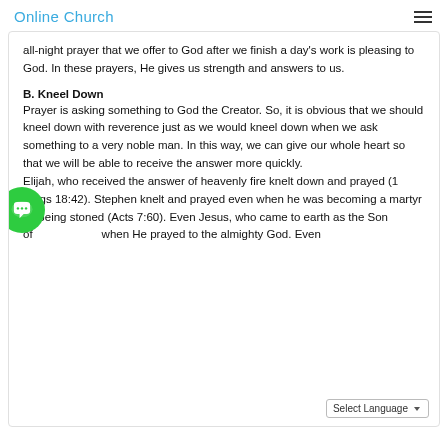Online Church
all-night prayer that we offer to God after we finish a day’s work is pleasing to God. In these prayers, He gives us strength and answers to us.
B. Kneel Down
Prayer is asking something to God the Creator. So, it is obvious that we should kneel down with reverence just as we would kneel down when we ask something to a very noble man. In this way, we can give our whole heart so that we will be able to receive the answer more quickly. Elijah, who received the answer of heavenly fire knelt down and prayed (1 Kings 18:42). Stephen knelt and prayed even when he was becoming a martyr by being stoned (Acts 7:60). Even Jesus, who came to earth as the Son of God, knelt when He prayed to the almighty God. Even